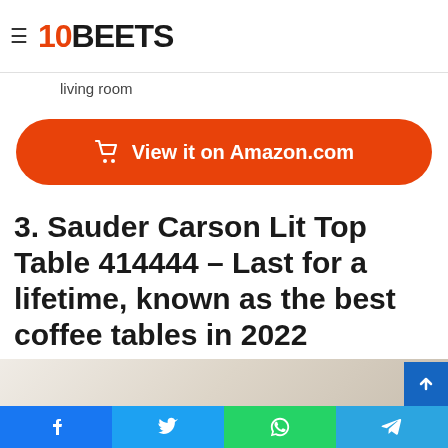10BEETS
Color: espresso, dark taupe, glossy white
Functions: coffee table, family room, office, living room
View it on Amazon.com
3. Sauder Carson Lit Top Table 414444 – Last for a lifetime, known as the best coffee tables in 2022
[Figure (photo): Partial view of a coffee table product photo]
Social share bar: Facebook, Twitter, WhatsApp, Telegram